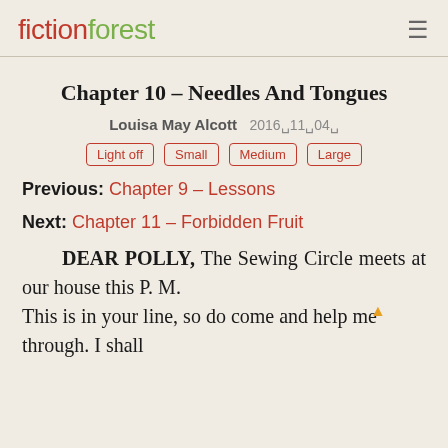fictionforest
Chapter 10 – Needles And Tongues
Louisa May Alcott  2016⊠11⊠04⊠
Light off
Small
Medium
Large
Previous: Chapter 9 – Lessons
Next: Chapter 11 – Forbidden Fruit
DEAR POLLY, The Sewing Circle meets at our house this P. M. This is in your line, so do come and help me through. I shall